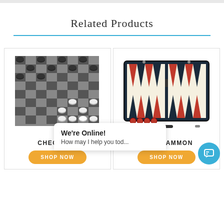Related Products
[Figure (photo): Checkers board game with black and white checker pieces on a grey and dark checkered board]
CHECKERS
[Figure (photo): Backgammon set in a dark navy blue case with red and cream colored triangular points and game pieces]
BACKGAMMON
SHOP NOW
We're Online!
How may I help you tod...